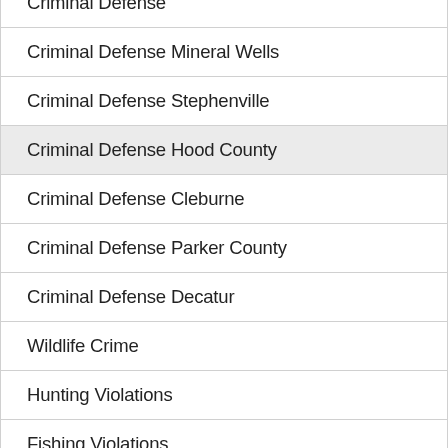Criminal Defense
Criminal Defense Mineral Wells
Criminal Defense Stephenville
Criminal Defense Hood County
Criminal Defense Cleburne
Criminal Defense Parker County
Criminal Defense Decatur
Wildlife Crime
Hunting Violations
Fishing Violations
Federal Wildlife Violations